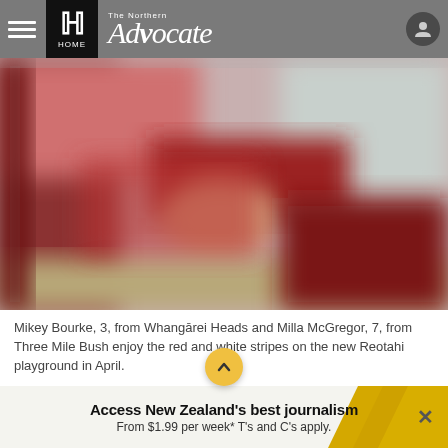The Northern Advocate — HOME
[Figure (photo): Blurred/pixelated image showing children at a playground with red and white stripes at Reotahi playground]
Mikey Bourke, 3, from Whangārei Heads and Milla McGregor, 7, from Three Mile Bush enjoy the red and white stripes on the new Reotahi playground in April.
Access New Zealand's best journalism
From $1.99 per week* T's and C's apply.